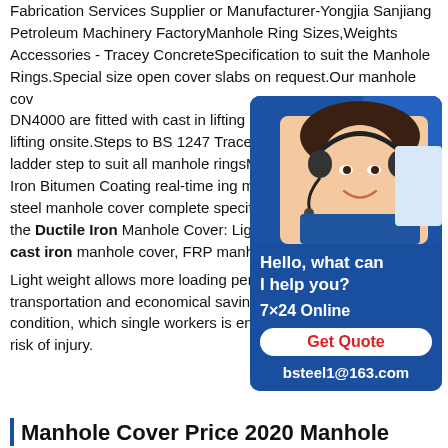Fabrication Services Supplier or Manufacturer-Yongjia Sanjiang Petroleum Machinery FactoryManhole Ring Sizes,Weights Accessories - Tracey ConcreteSpecification to suit the Manhole Rings.Special size open cover slabs on request.Our manhole covers DN4000 are fitted with cast in lifting loops lifting onsite.Steps to BS 1247 Tracey Concrete ladder step to suit all manhole ringsManhole Iron Bitumen Coating real-time ing manhole steel manhole cover complete specification the Ductile Iron Manhole Cover: Light weight cast iron manhole cover, FRP manhole cover. Light weight allows more loading per vehicle, more convenient transportation and economical savings. Allows a safer working condition, which single workers is enough for installation without risk of injury.
[Figure (photo): Chat widget showing a woman wearing a headset, with text 'Hello, what can I help you?', '7×24 Online', 'Get Quote' button, and 'bsteel1@163.com']
Manhole Cover Price 2020 Manhole...